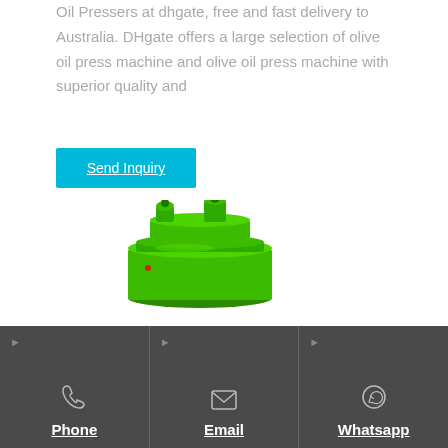Oil Pressers at dhgate, free and fast delivery to Australia. DHgate offers a large selection of olive oil press machine and olive oil press machine with superior quality and
[Figure (other): Button: Send Inquiry — cyan/turquoise rectangular button with white underlined text]
[Figure (photo): A bright green industrial oil press machine with cylindrical body and protruding mechanical components on top]
Phone
Email
Whatsapp